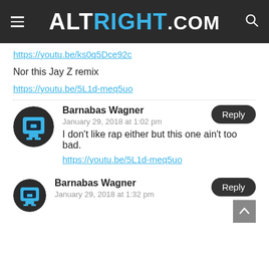ALTRIGHT.COM
https://youtu.be/ks0q5Dce92c
Nor this Jay Z remix
https://youtu.be/5L1d-meq5uo
Barnabas Wagner
January 29, 2018 at 1:02 pm
I don't like rap either but this one ain't too bad.
https://youtu.be/5L1d-meq5uo
Barnabas Wagner
January 29, 2018 at 1:32 pm